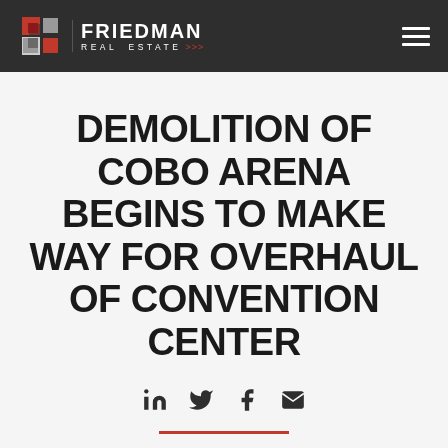Friedman Real Estate
DEMOLITION OF COBO ARENA BEGINS TO MAKE WAY FOR OVERHAUL OF CONVENTION CENTER
Posted on April 6, 2012